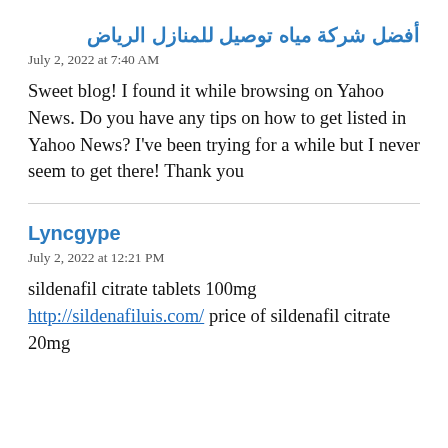أفضل شركة مياه توصيل للمنازل الرياض
July 2, 2022 at 7:40 AM
Sweet blog! I found it while browsing on Yahoo News. Do you have any tips on how to get listed in Yahoo News? I've been trying for a while but I never seem to get there! Thank you
Lyncgype
July 2, 2022 at 12:21 PM
sildenafil citrate tablets 100mg http://sildenafiluis.com/ price of sildenafil citrate 20mg